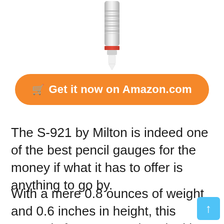[Figure (photo): Partial view of a pencil tire pressure gauge (Milton S-921) shown from the top, with a metal barrel, red ring near the tip, and a white pointed tip, on a white background.]
Get it now on Amazon.com
The S-921 by Milton is indeed one of the best pencil gauges for the money if what it has to offer is anything to go by.
With a mere 0.8 ounces of weight and 0.6 inches in height, this gauge is for anyone who's looking for a convenient way to measure tire pressure. Make no mistake